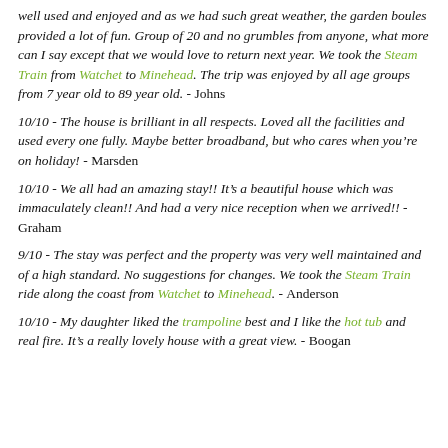well used and enjoyed and as we had such great weather, the garden boules provided a lot of fun. Group of 20 and no grumbles from anyone, what more can I say except that we would love to return next year. We took the Steam Train from Watchet to Minehead. The trip was enjoyed by all age groups from 7 year old to 89 year old. - Johns
10/10 - The house is brilliant in all respects. Loved all the facilities and used every one fully. Maybe better broadband, but who cares when you’re on holiday! - Marsden
10/10 - We all had an amazing stay!! It’s a beautiful house which was immaculately clean!! And had a very nice reception when we arrived!! - Graham
9/10 - The stay was perfect and the property was very well maintained and of a high standard. No suggestions for changes. We took the Steam Train ride along the coast from Watchet to Minehead. - Anderson
10/10 - My daughter liked the trampoline best and I like the hot tub and real fire. It’s a really lovely house with a great view. - Boogan